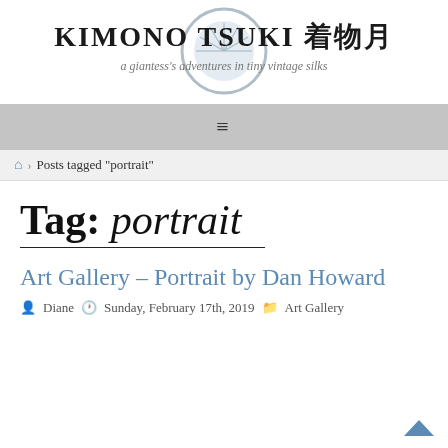KIMONO TSUKI 着物月 — a giantess's adventures in tiny vintage silks
[Figure (logo): Circular logo with fan/chrysanthemum design in light blue-grey]
≡ (navigation menu icon)
🏠 > Posts tagged "portrait"
Tag: portrait
Art Gallery – Portrait by Dan Howard
Diane  Sunday, February 17th, 2019  Art Gallery